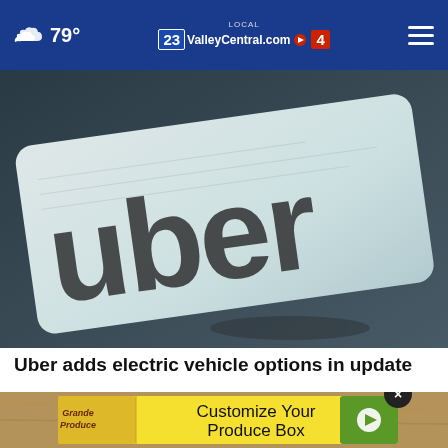79° ValleyCentral.com 23 4
[Figure (photo): Close-up photo of a white card with the Uber logo printed in large black lowercase letters, resting on a dark surface]
Uber adds electric vehicle options in update
[Figure (photo): Advertisement banner: Customize Your Produce Box - Grande Produce with vegetable imagery]